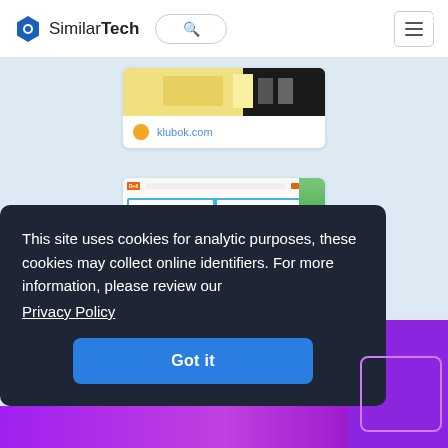SimilarTech
[Figure (screenshot): klubok.com website thumbnail showing yellow/dark gradient image and orange circle logo with URL klubok.com in blue]
[Figure (screenshot): Website screenshot showing a search portal with blue header, orange search button, grid of category icons with colored dots, and green/yellow side image]
This site uses cookies for analytic purposes, these cookies may collect online identifiers. For more information, please review our
Privacy Policy
Got it